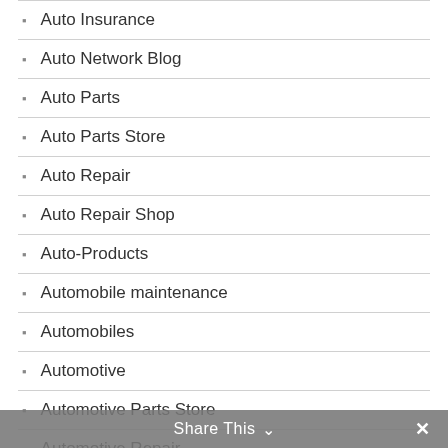Auto Insurance
Auto Network Blog
Auto Parts
Auto Parts Store
Auto Repair
Auto Repair Shop
Auto-Products
Automobile maintenance
Automobiles
Automotive
Automotive Parts Store
Automotive Repair
Automotive Repair Shop
Share This ∨  ✕